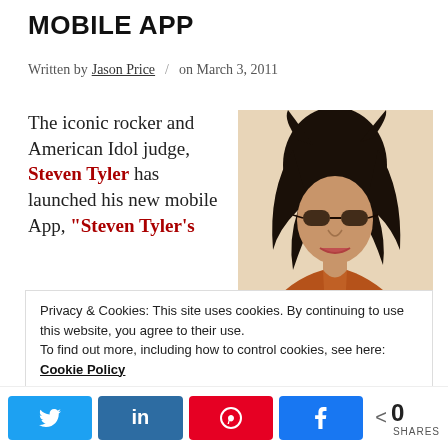MOBILE APP
Written by Jason Price / on March 3, 2011
The iconic rocker and American Idol judge, Steven Tyler has launched his new mobile App, "Steven Tyler's
[Figure (photo): Photo of Steven Tyler wearing a rust/orange shirt, with long dark hair, looking at camera]
Privacy & Cookies: This site uses cookies. By continuing to use this website, you agree to their use. To find out more, including how to control cookies, see here: Cookie Policy
0 SHARES — social share bar with Twitter, LinkedIn, Pinterest, Facebook buttons